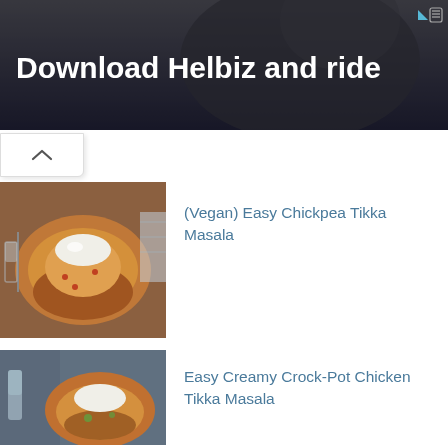[Figure (photo): Advertisement banner: 'Download Helbiz and ride' with person on scooter background]
[Figure (photo): Thumbnail of chickpea tikka masala dish in bowl with rice]
(Vegan) Easy Chickpea Tikka Masala
[Figure (photo): Thumbnail of creamy crock-pot chicken tikka masala dish]
Easy Creamy Crock-Pot Chicken Tikka Masala
[Figure (photo): Thumbnail of lemon garlic chicken zoodles dish]
Lemon Garlic Chicken Zoodles
[Figure (photo): Thumbnail of oatmeal dish]
The Magic of Oatmeal